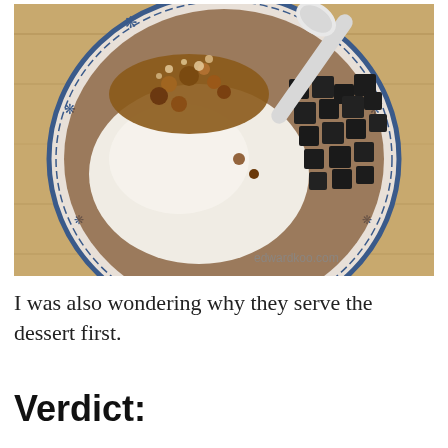[Figure (photo): Overhead view of a bowl of dessert containing tofu pudding or milk pudding topped with sugar crystals and black jelly cubes, served in a blue and white patterned bowl with a white ceramic spoon. Watermark reads 'edwardkoo.com'.]
I was also wondering why they serve the dessert first.
Verdict: